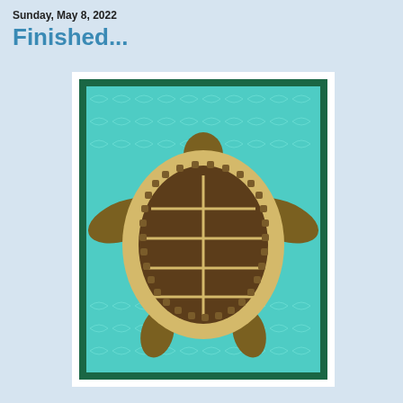Sunday, May 8, 2022
Finished...
[Figure (illustration): A quilt or textile art piece depicting a sea turtle viewed from above. The turtle has a brown patterned shell with cream/tan segmented scutes outlined by small square dots, brown flippers and head, set against a teal/aqua background with white feathery leaf or wave patterns. The piece has a dark green border and a white outer border/mat.]